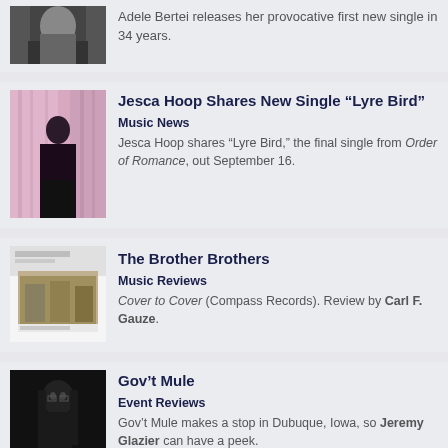[Figure (photo): Partial image of a person at top of page, cropped]
Adele Bertei releases her provocative first new single in 34 years.
[Figure (photo): Person in black outfit with pink curtain backdrop - Jesca Hoop photo]
Jesca Hoop Shares New Single “Lyre Bird”
Music News
Jesca Hoop shares “Lyre Bird,” the final single from Order of Romance, out September 16.
[Figure (photo): Brother Brothers album cover - studio setting with musicians]
The Brother Brothers
Music Reviews
Cover to Cover (Compass Records). Review by Carl F. Gauze.
[Figure (photo): Black and white photo of Gov't Mule performer]
Gov’t Mule
Event Reviews
Gov’t Mule makes a stop in Dubuque, Iowa, so Jeremy Glazier can have a peek.